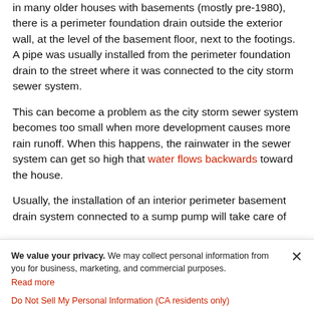in many older houses with basements (mostly pre-1980), there is a perimeter foundation drain outside the exterior wall, at the level of the basement floor, next to the footings. A pipe was usually installed from the perimeter foundation drain to the street where it was connected to the city storm sewer system.
This can become a problem as the city storm sewer system becomes too small when more development causes more rain runoff. When this happens, the rainwater in the sewer system can get so high that water flows backwards toward the house.
Usually, the installation of an interior perimeter basement drain system connected to a sump pump will take care of the problem. If it doesn't, the (more expensive) alternative is to dig up and cap the pipe that is running from the house to
We value your privacy. We may collect personal information from you for business, marketing, and commercial purposes. Read more
Do Not Sell My Personal Information (CA residents only)